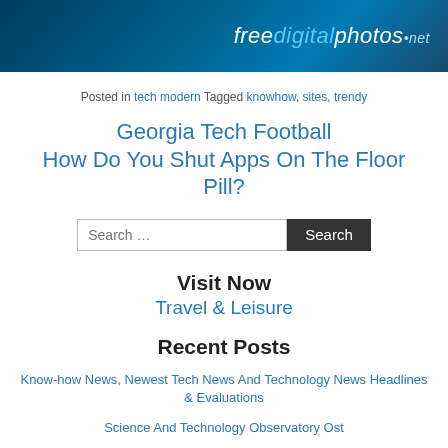[Figure (logo): freedigitalphotos.net logo on dark blue gradient banner header]
Posted in tech modern Tagged knowhow, sites, trendy
Georgia Tech Football
How Do You Shut Apps On The Floor Pill?
Search ...
Visit Now
Travel & Leisure
Recent Posts
Know-how News, Newest Tech News And Technology News Headlines & Evaluations
Science And Technology Observatory Ost
How Science And Technology Developments Impression